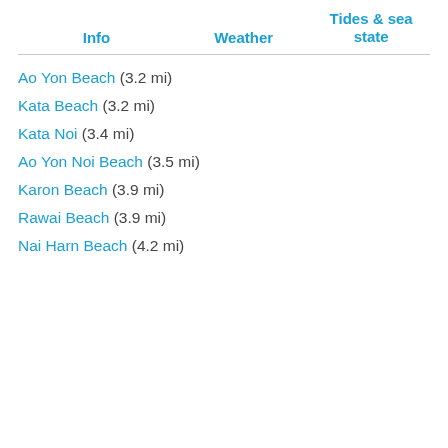| Info | Weather | Tides & sea state |
| --- | --- | --- |
| Ao Yon Beach (3.2 mi) |  |  |
| Kata Beach (3.2 mi) |  |  |
| Kata Noi (3.4 mi) |  |  |
| Ao Yon Noi Beach (3.5 mi) |  |  |
| Karon Beach (3.9 mi) |  |  |
| Rawai Beach (3.9 mi) |  |  |
| Nai Harn Beach (4.2 mi) |  |  |